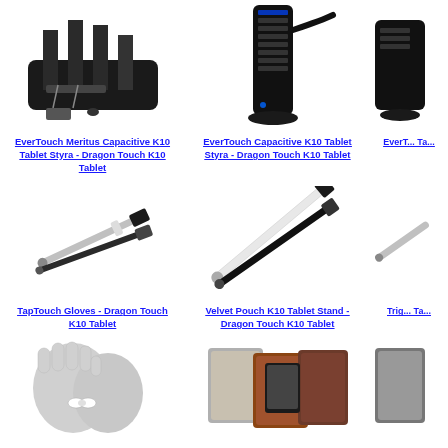[Figure (photo): Charging station/dock with multiple USB ports and devices on black base - top portion cropped]
[Figure (photo): Black vertical USB hub/charging tower with cord - top portion cropped]
[Figure (photo): Partial third product image - cropped on right edge]
EverTouch Meritus Capacitive K10 Tablet Styra - Dragon Touch K10 Tablet
EverTouch Capacitive K10 Tablet Styra - Dragon Touch K10 Tablet
EverT... Ta...
[Figure (photo): Two stylus pens - silver/white and black, laid diagonally]
[Figure (photo): Two stylus pens - one white and one black, laid diagonally]
[Figure (photo): Partial third product stylus image - cropped]
TapTouch Gloves - Dragon Touch K10 Tablet
Velvet Pouch K10 Tablet Stand - Dragon Touch K10 Tablet
Trig... Ta...
[Figure (photo): Gray touchscreen gloves]
[Figure (photo): Velvet pouch and tablet stand in brown/tan colors]